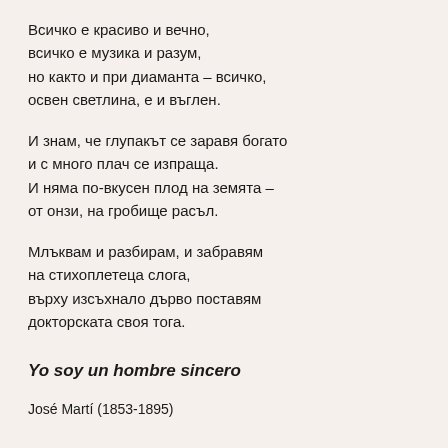Всичко е красиво и вечно,
всичко е музика и разум,
но както и при диаманта – всичко,
освен светлина, е и въглен.
И знам, че глупакът се заравя богато
и с много плач се изпраща.
И няма по-вкусен плод на земята –
от онзи, на гробище расъл.
Млъквам и разбирам, и забравям
на стихоплетеца слога,
върху изсъхнало дърво поставям
докторската своя тога.
Yo soy un hombre sincero
José Martí (1853-1895)